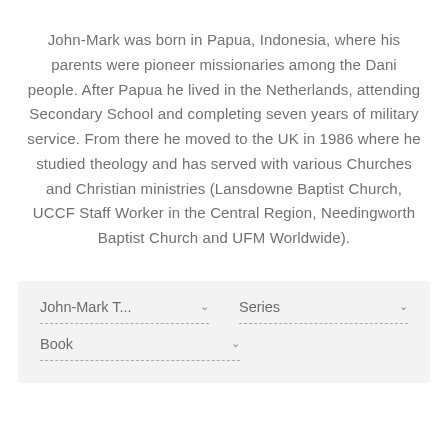John-Mark was born in Papua, Indonesia, where his parents were pioneer missionaries among the Dani people. After Papua he lived in the Netherlands, attending Secondary School and completing seven years of military service. From there he moved to the UK in 1986 where he studied theology and has served with various Churches and Christian ministries (Lansdowne Baptist Church, UCCF Staff Worker in the Central Region, Needingworth Baptist Church and UFM Worldwide).
John-Mark T... [dropdown] Series [dropdown] Book [dropdown]